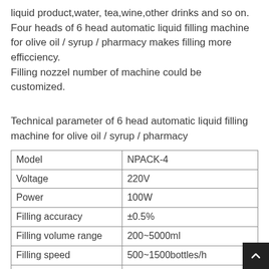liquid product,water, tea,wine,other drinks and so on. Four heads of 6 head automatic liquid filling machine for olive oil / syrup / pharmacy makes filling more efficciency.
Filling nozzel number of machine could be customized.
Technical parameter of 6 head automatic liquid filling machine for olive oil / syrup / pharmacy
| Model | NPACK-4 |
| Voltage | 220V |
| Power | 100W |
| Filling accuracy | ±0.5% |
| Filling volume range | 200~5000ml |
| Filling speed | 500~1500bottles/h |
| Size | 1280*680*2200mm |